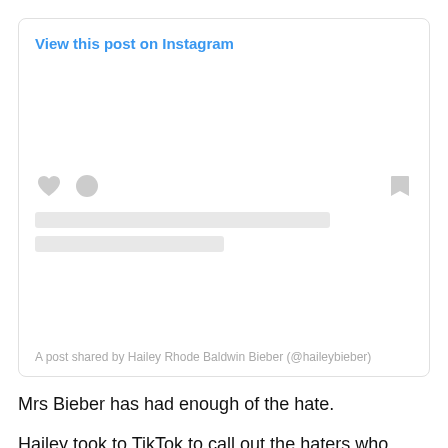[Figure (screenshot): Instagram embed placeholder showing 'View this post on Instagram' link, heart and comment icons, bookmark icon, two gray placeholder bars, and caption 'A post shared by Hailey Rhode Baldwin Bieber (@haileybieber)']
Mrs Bieber has had enough of the hate.
Hailey took to TikTok to call out the haters who have been harassing her for years, and she is so over it.